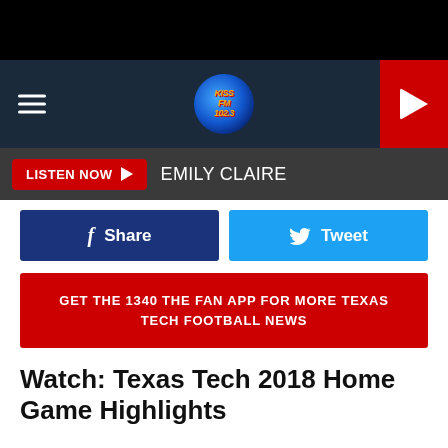[Figure (screenshot): Black top bar]
KISSFM 102.3 radio station navigation bar with hamburger menu, logo, and play button
LISTEN NOW ▶   EMILY CLAIRE
f Share
Tweet
GET THE 1340 THE FAN APP FOR MORE TEXAS TECH FOOTBALL NEWS
Watch: Texas Tech 2018 Home Game Highlights